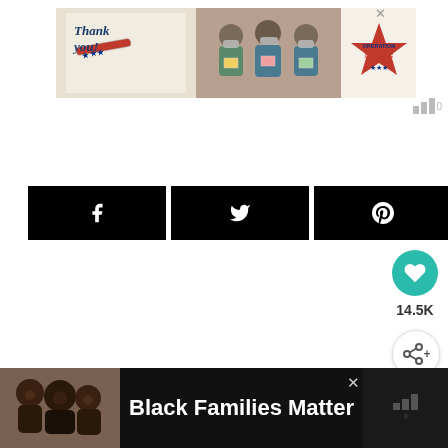[Figure (photo): Operation Gratitude advertisement banner showing 'Thank you!' text with pencil graphic, healthcare workers wearing masks holding cards, and Operation Gratitude logo with star]
[Figure (infographic): Social media share buttons: Facebook, Twitter, Pinterest icons in black rectangles. Share count showing 14477 SHARES with share icon.]
14477 SHARES
[Figure (infographic): Teal circular heart/like button with 14.5K count below, and a share+ button below that]
14.5K
[Figure (photo): What's Next panel with thumbnail image and text 'Blueberry Almond Bun...']
WHAT'S NEXT → Blueberry Almond Bun...
[Figure (photo): Bottom advertisement banner with dark background showing family photo and text 'Black Families Matter']